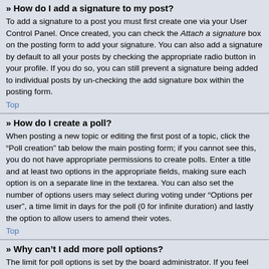» How do I add a signature to my post?
To add a signature to a post you must first create one via your User Control Panel. Once created, you can check the Attach a signature box on the posting form to add your signature. You can also add a signature by default to all your posts by checking the appropriate radio button in your profile. If you do so, you can still prevent a signature being added to individual posts by un-checking the add signature box within the posting form.
Top
» How do I create a poll?
When posting a new topic or editing the first post of a topic, click the “Poll creation” tab below the main posting form; if you cannot see this, you do not have appropriate permissions to create polls. Enter a title and at least two options in the appropriate fields, making sure each option is on a separate line in the textarea. You can also set the number of options users may select during voting under “Options per user”, a time limit in days for the poll (0 for infinite duration) and lastly the option to allow users to amend their votes.
Top
» Why can’t I add more poll options?
The limit for poll options is set by the board administrator. If you feel you need to add more options to your poll than the allowed amount, contact the board administrator.